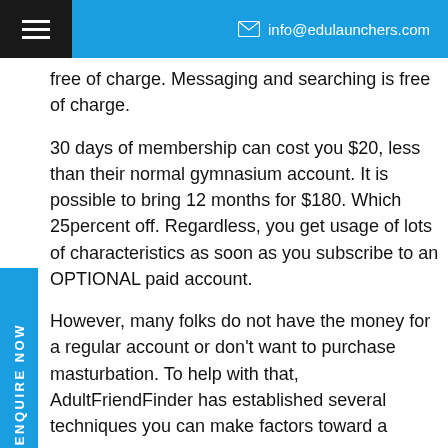info@edulaunchers.com
free of charge. Messaging and searching is free of charge.
30 days of membership can cost you $20, less than their normal gymnasium account. It is possible to bring 12 months for $180. Which 25percent off. Regardless, you get usage of lots of characteristics as soon as you subscribe to an OPTIONAL paid account.
However, many folks do not have the money for a regular account or don't want to purchase masturbation. To help with that, AdultFriendFinder has established several techniques you can make factors toward a membership. Activities for example